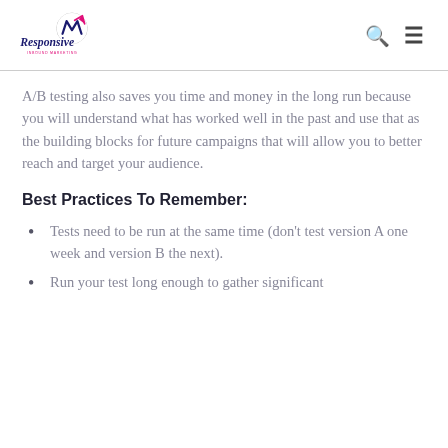Responsive Inbound Marketing
A/B testing also saves you time and money in the long run because you will understand what has worked well in the past and use that as the building blocks for future campaigns that will allow you to better reach and target your audience.
Best Practices To Remember:
Tests need to be run at the same time (don't test version A one week and version B the next).
Run your test long enough to gather significant